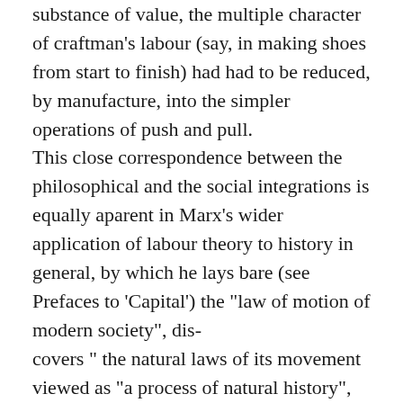substance of value, the multiple character of craftman's labour (say, in making shoes from start to finish) had had to be reduced, by manufacture, into the simpler operations of push and pull. This close correspondence between the philosophical and the social integrations is equally aparent in Marx's wider application of labour theory to history in general, by which he lays bare (see Prefaces to 'Capital') the "law of motion of modern society", dis- covers " the natural laws of its movement viewed as "a process of natural history", shows "the necessity of successive determinate orders" governed by laws "independent of human will", "tendencies working with iron necessity towards inevitable results", and states explicitly in ' Capital ' that " the absolute, general law of capitalist development is the increased